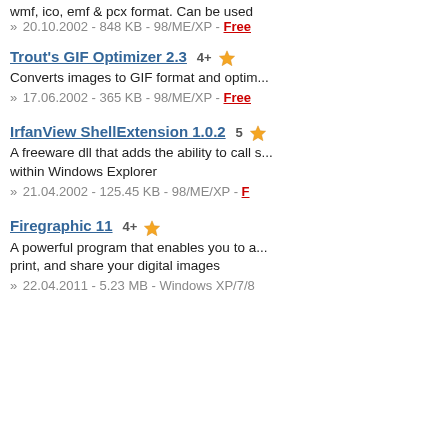wmf, ico, emf & pcx format. Can be used ...
» 20.10.2002 - 848 KB - 98/ME/XP - Free
Trout's GIF Optimizer 2.3  4+ star — Converts images to GIF format and optim... — » 17.06.2002 - 365 KB - 98/ME/XP - Free
IrfanView ShellExtension 1.0.2  5 star — A freeware dll that adds the ability to call s... within Windows Explorer — » 21.04.2002 - 125.45 KB - 98/ME/XP - F...
Firegraphic 11  4+ star — A powerful program that enables you to a... print, and share your digital images — » 22.04.2011 - 5.23 MB - Windows XP/7/8...